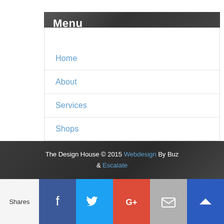Menu
Home
About
Services
Shops
Blog
My Account
Privacy Policy
The Design House © 2015 Webdesign By Buz & Escalate
Shares